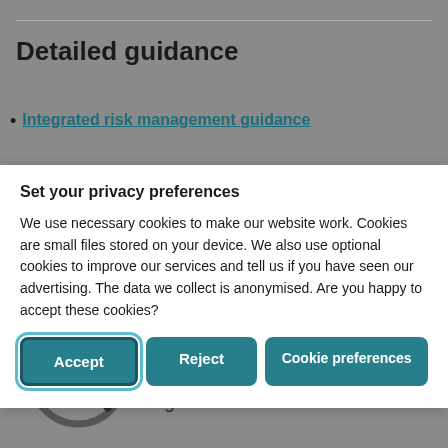Detailed guidance
Integrated risk management guidance
Set your privacy preferences
We use necessary cookies to make our website work. Cookies are small files stored on your device. We also use optional cookies to improve our services and tell us if you have seen our advertising. The data we collect is anonymised. Are you happy to accept these cookies?
[Figure (screenshot): Cookie preference buttons: Accept, Reject, Cookie preferences]
[Figure (logo): The Pensions Regulator logo with circular magnifying glass icon and text 'The Pensions Regulator']